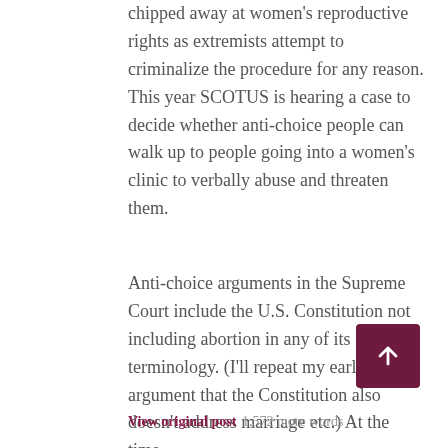chipped away at women's reproductive rights as extremists attempt to criminalize the procedure for any reason. This year SCOTUS is hearing a case to decide whether anti-choice people can walk up to people going into a women's clinic to verbally abuse and threaten them.
Anti-choice arguments in the Supreme Court include the U.S. Constitution not including abortion in any of its terminology. (I'll repeat my earlier argument that the Constitution also doesn't address marriage etc.) At the time...
View original post 1,572 more words